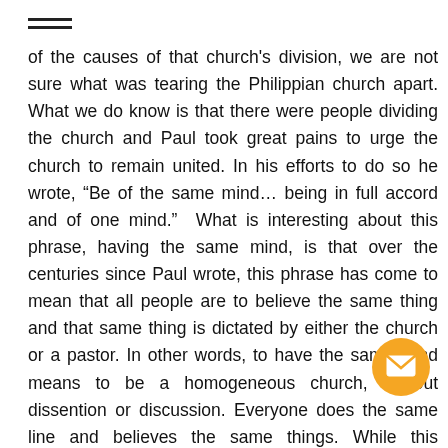—
of the causes of that church's division, we are not sure what was tearing the Philippian church apart. What we do know is that there were people dividing the church and Paul took great pains to urge the church to remain united. In his efforts to do so he wrote, “Be of the same mind… being in full accord and of one mind.”  What is interesting about this phrase, having the same mind, is that over the centuries since Paul wrote, this phrase has come to mean that all people are to believe the same thing and that same thing is dictated by either the church or a pastor. In other words, to have the same mind means to be a homogeneous church, without dissention or discussion. Everyone does the same line and believes the same things. While this understanding may still be true for many churches today, it is not true for us Reformed. First, it is not true theologically because we believe those things about anyone dictating to us what we must